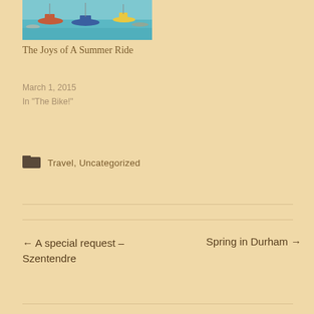[Figure (photo): Photo of a harbor with colorful boats on turquoise water]
The Joys of A Summer Ride
March 1, 2015
In "The Bike!"
Travel, Uncategorized
← A special request – Szentendre
Spring in Durham →